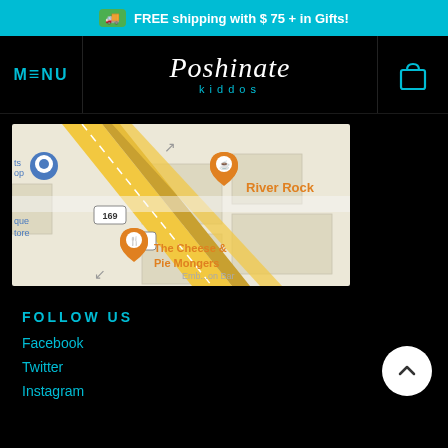FREE shipping with $ 75 + in Gifts!
[Figure (screenshot): Website header with MENU navigation, Poshinate Kiddos logo, and cart icon on black background]
[Figure (map): Google Maps screenshot showing River Rock and The Cheese & Pie Mongers locations near routes 169 and 22]
FOLLOW US
Facebook
Twitter
Instagram